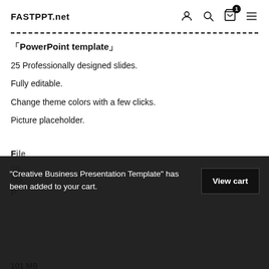FASTPPT.net
「PowerPoint template」
25 Professionally designed slides.
Fully editable.
Change theme colors with a few clicks.
Picture placeholder.
"Creative Business Presentation Template" has been added to your cart.
View cart
101 MB